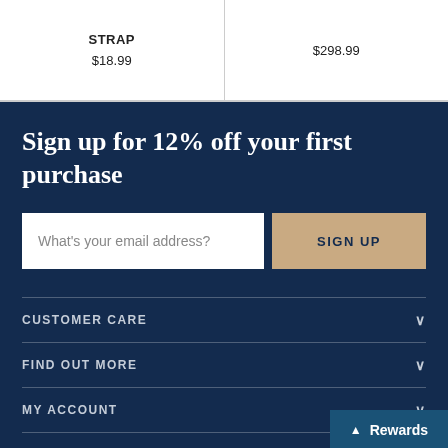| Product | Price |
| --- | --- |
| STRAP | $18.99 |
|  | $298.99 |
Sign up for 12% off your first purchase
What's your email address?
SIGN UP
CUSTOMER CARE
FIND OUT MORE
MY ACCOUNT
STORE INFO
Rewards